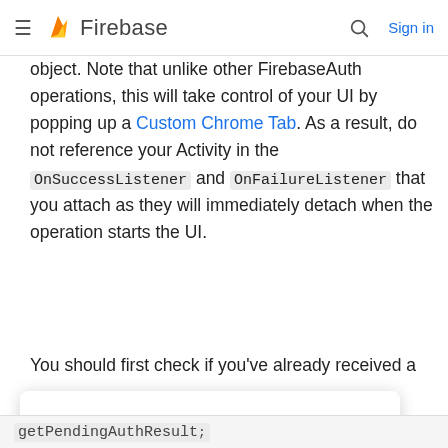Firebase
object. Note that unlike other FirebaseAuth operations, this will take control of your UI by popping up a Custom Chrome Tab. As a result, do not reference your Activity in the OnSuccessListener and OnFailureListener that you attach as they will immediately detach when the operation starts the UI.
You should first check if you've already received a
[Figure (screenshot): White overlay card/tooltip partially covering the text content below]
n	. In	y	is
getPendingAuthResult;